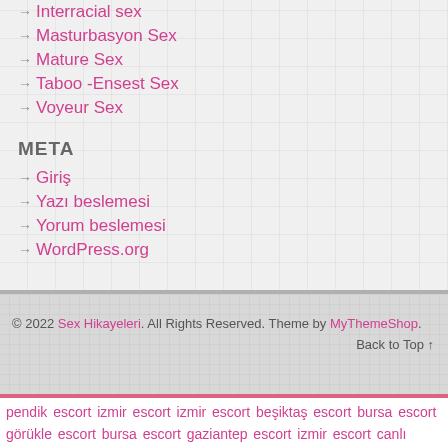→ Interracial sex
→ Masturbasyon Sex
→ Mature Sex
→ Taboo -Ensest Sex
→ Voyeur Sex
META
→ Giriş
→ Yazı beslemesi
→ Yorum beslemesi
→ WordPress.org
© 2022 Sex Hikayeleri. All Rights Reserved. Theme by MyThemeShop. Back to Top ↑
pendik escort izmir escort izmir escort beşiktaş escort bursa escort görükle escort bursa escort gaziantep escort izmir escort canlı bahis güvenilir bahis illegal bahis canlı bahis bahis siteleri canlı bahis